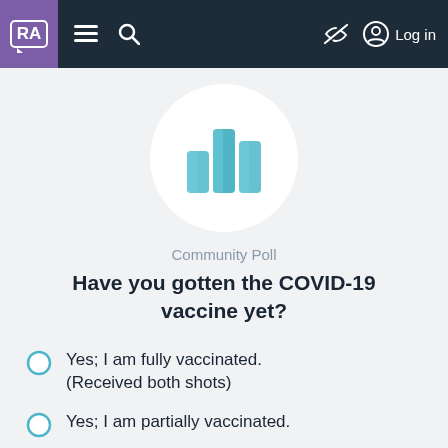RA ≡ 🔍 [eye-slash] Log in
[Figure (illustration): Bar chart icon (three teal/blue bars of increasing height) inside a white circle, representing a community poll graphic]
Community Poll
Have you gotten the COVID-19 vaccine yet?
Yes; I am fully vaccinated. (Received both shots)
Yes; I am partially vaccinated.
No; but I am scheduled to.